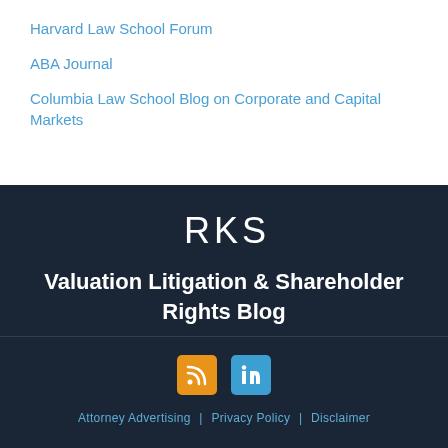Harvard Law School Forum
ABA Journal
Columbia Law School Blog on Corporate and Capital Markets
[Figure (logo): RKS logo in white letters on dark navy background]
Valuation Litigation & Shareholder Rights Blog
[Figure (infographic): RSS feed icon (orange) and LinkedIn icon (blue) social media buttons]
Attorney Advertising | Privacy Policy | Disclaimer